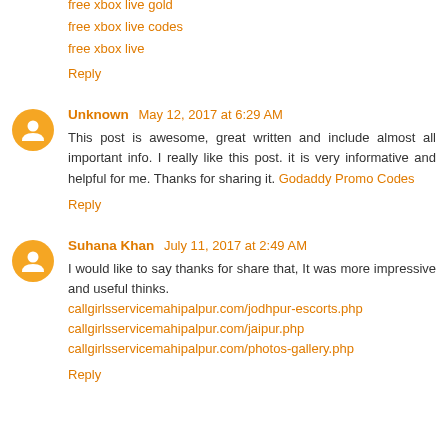free xbox live gold
free xbox live codes
free xbox live
Reply
Unknown May 12, 2017 at 6:29 AM
This post is awesome, great written and include almost all important info. I really like this post. it is very informative and helpful for me. Thanks for sharing it. Godaddy Promo Codes
Reply
Suhana Khan July 11, 2017 at 2:49 AM
I would like to say thanks for share that, It was more impressive and useful thinks.
callgirlsservicemahipalpur.com/jodhpur-escorts.php
callgirlsservicemahipalpur.com/jaipur.php
callgirlsservicemahipalpur.com/photos-gallery.php
Reply